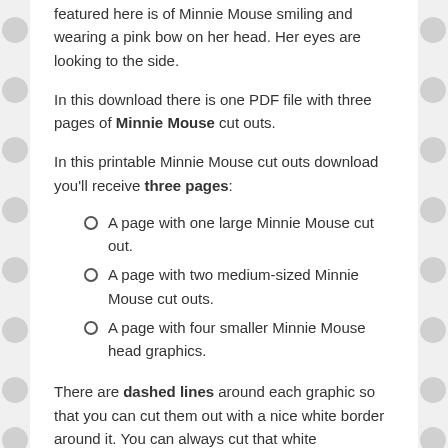featured here is of Minnie Mouse smiling and wearing a pink bow on her head. Her eyes are looking to the side.
In this download there is one PDF file with three pages of Minnie Mouse cut outs.
In this printable Minnie Mouse cut outs download you'll receive three pages:
A page with one large Minnie Mouse cut out.
A page with two medium-sized Minnie Mouse cut outs.
A page with four smaller Minnie Mouse head graphics.
There are dashed lines around each graphic so that you can cut them out with a nice white border around it. You can always cut that white